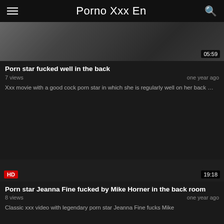Porno Xxx En
[Figure (screenshot): Video thumbnail showing duration badge 05:59]
Porn star fucked well in the back
7 views    one year ago
Xxx movie with a good cock porn star in which she is regularly well on her back …
[Figure (screenshot): Dark video thumbnail with HD badge and duration badge 19:18]
Porn star Jeanna Fine fucked by Mike Horner in the back room
8 views    one year ago
Classic xxx video with legendary porn star Jeanna Fine fucks Mike